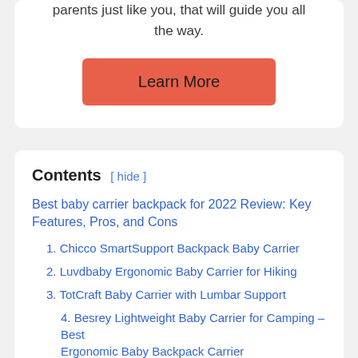parents just like you, that will guide you all the way.
Learn More
Contents [ hide ]
Best baby carrier backpack for 2022 Review: Key Features, Pros, and Cons
1. Chicco SmartSupport Backpack Baby Carrier
2. Luvdbaby Ergonomic Baby Carrier for Hiking
3. TotCraft Baby Carrier with Lumbar Support
4. Besrey Lightweight Baby Carrier for Camping – Best Ergonomic Baby Backpack Carrier
5. SaddleBaby Backpack Carrier – Best Soft Carrier